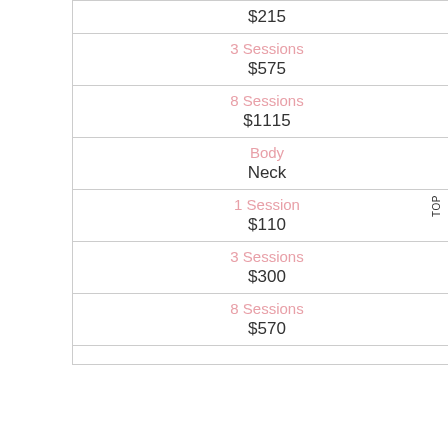| $215 |
| 3 Sessions
$575 |
| 8 Sessions
$1115 |
| Body
Neck |
| 1 Session
$110 |
| 3 Sessions
$300 |
| 8 Sessions
$570 |
|  |